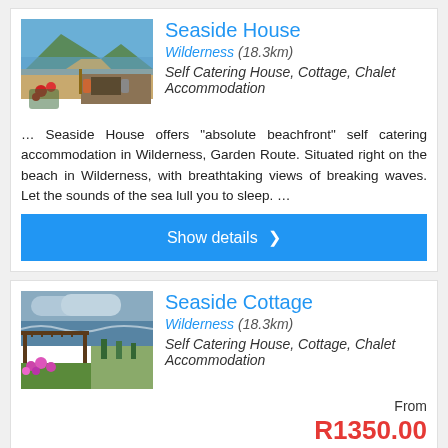[Figure (photo): Seaside House beachfront photo with chairs and flowers]
Seaside House
Wilderness (18.3km)
Self Catering House, Cottage, Chalet Accommodation
… Seaside House offers "absolute beachfront" self catering accommodation in Wilderness, Garden Route. Situated right on the beach in Wilderness, with breathtaking views of breaking waves. Let the sounds of the sea lull you to sleep. …
Show details ›
[Figure (photo): Seaside Cottage beachfront photo with pergola and flowers]
Seaside Cottage
Wilderness (18.3km)
Self Catering House, Cottage, Chalet Accommodation
From R1350.00 Per Unit
… Seaside Cottage offers beachfront self catering accommodation in Wilderness, Garden Route. Our self